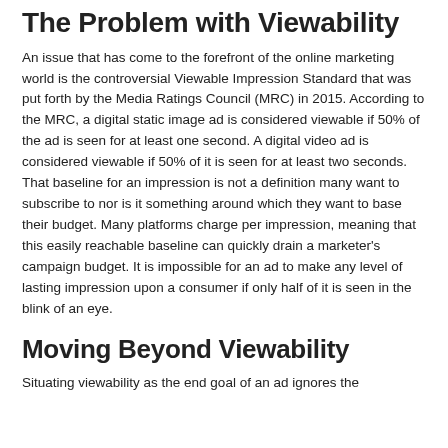The Problem with Viewability
An issue that has come to the forefront of the online marketing world is the controversial Viewable Impression Standard that was put forth by the Media Ratings Council (MRC) in 2015. According to the MRC, a digital static image ad is considered viewable if 50% of the ad is seen for at least one second. A digital video ad is considered viewable if 50% of it is seen for at least two seconds. That baseline for an impression is not a definition many want to subscribe to nor is it something around which they want to base their budget. Many platforms charge per impression, meaning that this easily reachable baseline can quickly drain a marketer's campaign budget. It is impossible for an ad to make any level of lasting impression upon a consumer if only half of it is seen in the blink of an eye.
Moving Beyond Viewability
Situating viewability as the end goal of an ad ignores the